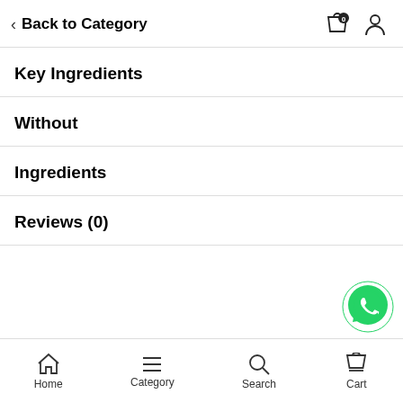Back to Category
Key Ingredients
Without
Ingredients
Reviews (0)
[Figure (other): WhatsApp floating action button (green phone icon)]
Home  Category  Search  Cart